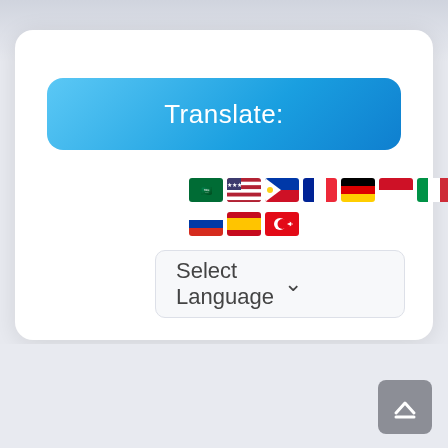[Figure (screenshot): A website translation widget showing a blue gradient 'Translate:' button, a row of country flag icons (Saudi Arabia, USA, Philippines, France, Germany, Indonesia, Italy, Portugal, Russia, Spain, Turkey), and a 'Select Language' dropdown selector. Below the card is a scroll-to-top button in grey.]